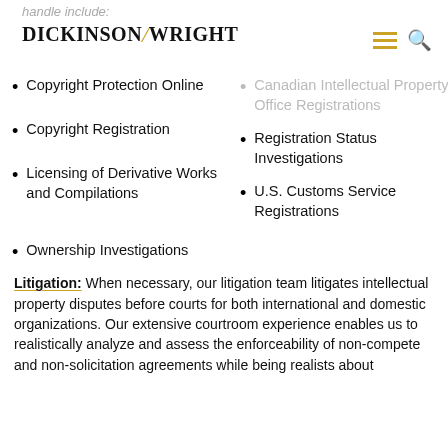handle include:
Dickinson Wright
Copyright Protection Online
Canadian Intellectual Property Office Registrations
Copyright Registration
Registration Status Investigations
Licensing of Derivative Works and Compilations
U.S. Customs Service Registrations
Ownership Investigations
Litigation: When necessary, our litigation team litigates intellectual property disputes before courts for both international and domestic organizations. Our extensive courtroom experience enables us to realistically analyze and assess the enforceability of non-compete and non-solicitation agreements while being realists about